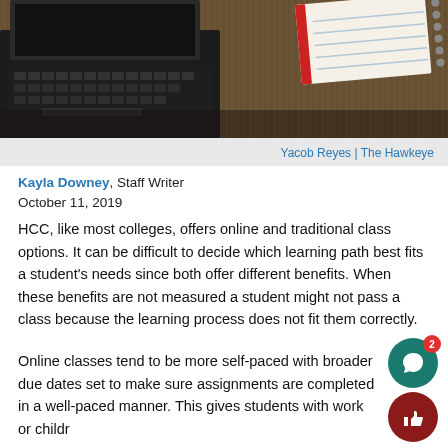[Figure (photo): Photo of a laptop keyboard and a spiral notebook on a woven mat surface, viewed from above.]
Yacob Reyes | The Hawkeye
Kayla Downey, Staff Writer
October 11, 2019
HCC, like most colleges, offers online and traditional class options. It can be difficult to decide which learning path best fits a student’s needs since both offer different benefits. When these benefits are not measured a student might not pass a class because the learning process does not fit them correctly.
Online classes tend to be more self-paced with broader due dates set to make sure assignments are completed in a well-paced manner. This gives students with work or children to b...